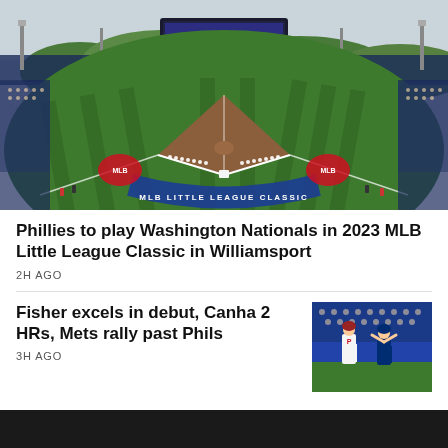[Figure (photo): Aerial view of a baseball stadium with MLB Little League Classic logo painted on the infield. Players lined up along the baselines. Scoreboard and stadium lights visible. Lush green field with striped mowing pattern.]
Phillies to play Washington Nationals in 2023 MLB Little League Classic in Williamsport
2H AGO
Fisher excels in debut, Canha 2 HRs, Mets rally past Phils
3H AGO
[Figure (photo): Baseball players in a stadium, one in a Phillies uniform, another in a dark away uniform, likely Mets players celebrating or in action.]